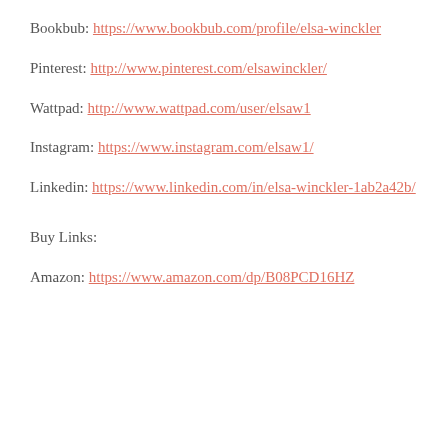Bookbub: https://www.bookbub.com/profile/elsa-winckler
Pinterest: http://www.pinterest.com/elsawinckler/
Wattpad: http://www.wattpad.com/user/elsaw1
Instagram: https://www.instagram.com/elsaw1/
Linkedin: https://www.linkedin.com/in/elsa-winckler-1ab2a42b/
Buy Links:
Amazon: https://www.amazon.com/dp/B08PCD16HZ